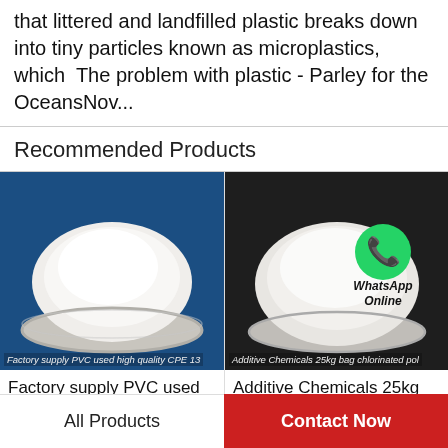that littered and landfilled plastic breaks down into tiny particles known as microplastics, which  The problem with plastic - Parley for the OceansNov...
Recommended Products
[Figure (photo): White powder in a glass bowl on blue background, product image for Factory supply PVC used high quality CPE 135A]
Factory supply PVC used high quality CPE 13
Factory supply PVC used high quality CPE 135A…
[Figure (photo): White powder in a glass bowl on dark background with WhatsApp Online overlay icon, product image for Additive Chemicals 25kg bag chlorinated poly]
Additive Chemicals 25kg bag chlorinated pol
Additive Chemicals 25kg bag chlorinated…
All Products
Contact Now